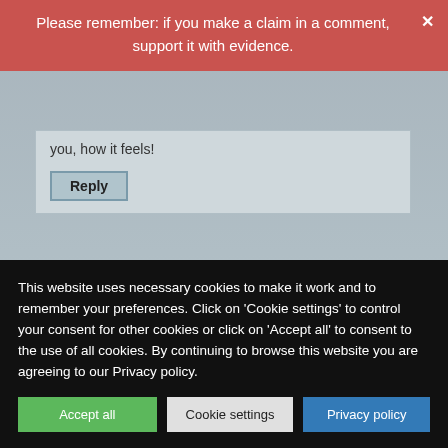Please remember: if you make a claim in a comment, support it with evidence.
you, how it feels!
Reply
Edzard on Tuesday 14 April 2020 at 20:05
“little or nothing additional to offer for this condition except oxygen” so you admit that you previous statement:
This website uses necessary cookies to make it work and to remember your preferences. Click on 'Cookie settings' to control your consent for other cookies or click on 'Accept all' to consent to the use of all cookies. By continuing to browse this website you are agreeing to our Privacy policy.
Accept all
Cookie settings
Privacy policy